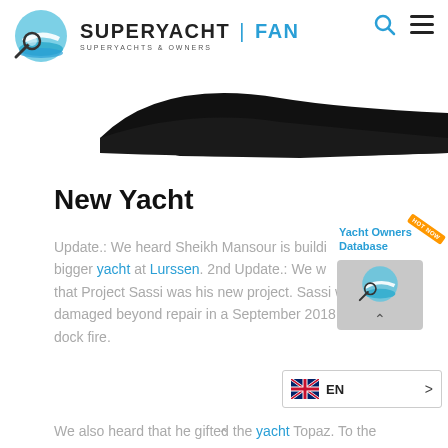[Figure (logo): SuperyachtFan logo with magnifying glass and yacht icon, text reads SUPERYACHT | FAN, SUPERYACHTS & OWNERS]
[Figure (photo): Black yacht silhouette against white background, showing the hull profile of a large superyacht]
New Yacht
Update.: We heard Sheikh Mansour is building a bigger yacht at Lurssen. 2nd Update.: We were told that Project Sassi was his new project. Sassi was damaged beyond repair in a September 2018 dry dock fire.
[Figure (other): Yacht Owners Database promotional widget with orange HOT NOW badge and site logo]
[Figure (other): Language selector showing EN (English) with UK flag icon]
We also heard that he gifted the yacht Topaz. To the